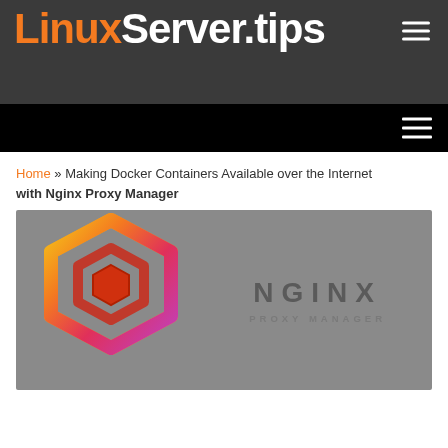LinuxServer.tips
Home » Making Docker Containers Available over the Internet with Nginx Proxy Manager
Making Docker Containers Available over the Internet with Nginx Proxy Manager
[Figure (logo): Nginx Proxy Manager logo with colorful hexagonal Docker-style icon on the left and 'NGINX PROXY MANAGER' text on the right, on a grey background]